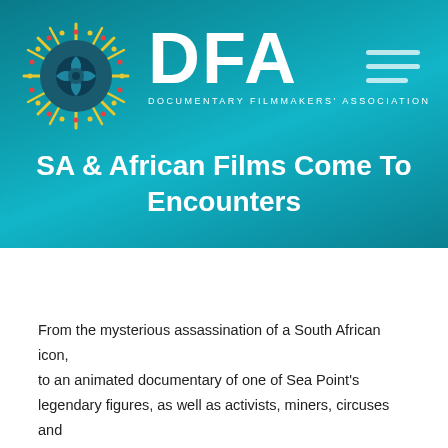[Figure (logo): DFA Documentary Filmmakers' Association logo — circular decorative emblem on left, large white DFA lettering in center, DOCUMENTARY FILMMAKERS' ASSOCIATION subtitle below]
SA & African Films Come To Encounters
From the mysterious assassination of a South African icon, to an animated documentary of one of Sea Point's legendary figures, as well as activists, miners, circuses and athletes, the 2021 Encounters South African International